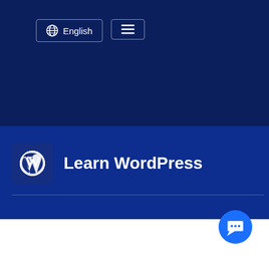[Figure (screenshot): Navigation bar with globe icon language selector showing 'English' and a hamburger menu button, on a dark navy background]
Learn WordPress
[Figure (logo): WordPress logo (W in circle) in a dark blue rounded square]
[Figure (other): Blue chat/message button in bottom-right corner]